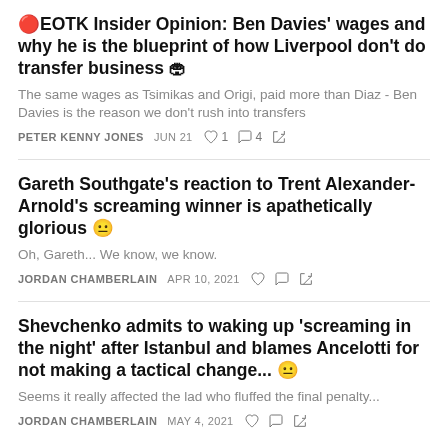🔴EOTK Insider Opinion: Ben Davies' wages and why he is the blueprint of how Liverpool don't do transfer business 🏟
The same wages as Tsimikas and Origi, paid more than Diaz - Ben Davies is the reason we don't rush into transfers
PETER KENNY JONES   JUN 21   ♡ 1   ○ 4   ↗
Gareth Southgate's reaction to Trent Alexander-Arnold's screaming winner is apathetically glorious 😐
Oh, Gareth... We know, we know.
JORDAN CHAMBERLAIN   APR 10, 2021   ♡   ○   ↗
Shevchenko admits to waking up 'screaming in the night' after Istanbul and blames Ancelotti for not making a tactical change... 😑
Seems it really affected the lad who fluffed the final penalty...
JORDAN CHAMBERLAIN   MAY 4, 2021   ♡   ○   ↗